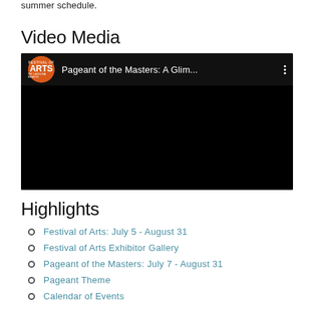summer schedule.
Video Media
[Figure (screenshot): Embedded video player with Festival of Arts logo and title 'Pageant of the Masters: A Glim...' on a black background with three-dot menu icon]
Highlights
Festival of Arts: July 5 - August 31
Festival of Arts Exhibitor Gallery
Pageant of the Masters: July 7 - August 31
Pageant Theme
Calendar of Events